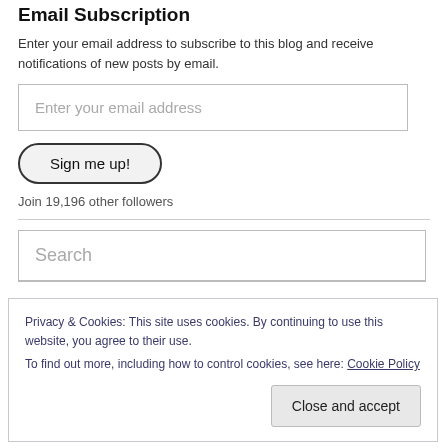Email Subscription
Enter your email address to subscribe to this blog and receive notifications of new posts by email.
Enter your email address
Sign me up!
Join 19,196 other followers
Search
Privacy & Cookies: This site uses cookies. By continuing to use this website, you agree to their use.
To find out more, including how to control cookies, see here: Cookie Policy
Close and accept